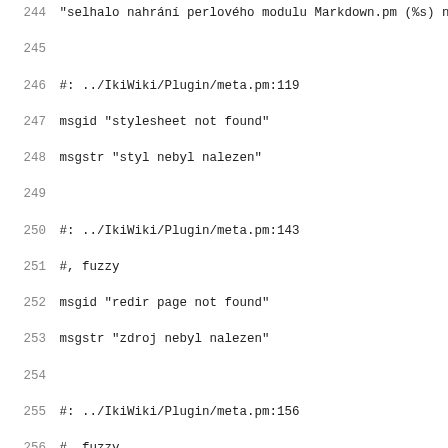Code listing lines 244-275, gettext PO file translation entries for IkiWiki plugins (meta.pm, mirrorlist.pm, more.pm, openid.pm)